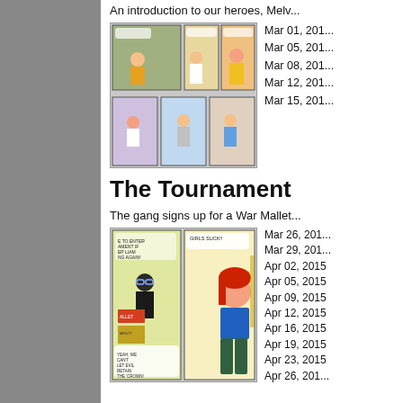An introduction to our heroes, Melv...
[Figure (illustration): Comic strip thumbnail showing characters in multi-panel grid, upper arc]
Mar 01, 2015
Mar 05, 2015
Mar 08, 2015
Mar 12, 2015
Mar 15, 2015
The Tournament
The gang signs up for a War Mallet...
[Figure (illustration): Comic strip thumbnail showing characters in tournament arc]
Mar 26, 2015
Mar 29, 2015
Apr 02, 2015
Apr 05, 2015
Apr 09, 2015
Apr 12, 2015
Apr 16, 2015
Apr 19, 2015
Apr 23, 2015
Apr 26, 2015